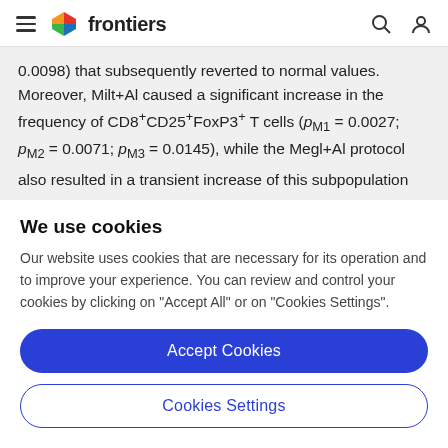frontiers
0.0098) that subsequently reverted to normal values. Moreover, Milt+Al caused a significant increase in the frequency of CD8+CD25+FoxP3+ T cells (pM1 = 0.0027; pM2 = 0.0071; pM3 = 0.0145), while the Megl+Al protocol also resulted in a transient increase of this subpopulation
We use cookies
Our website uses cookies that are necessary for its operation and to improve your experience. You can review and control your cookies by clicking on "Accept All" or on "Cookies Settings".
Accept Cookies
Cookies Settings